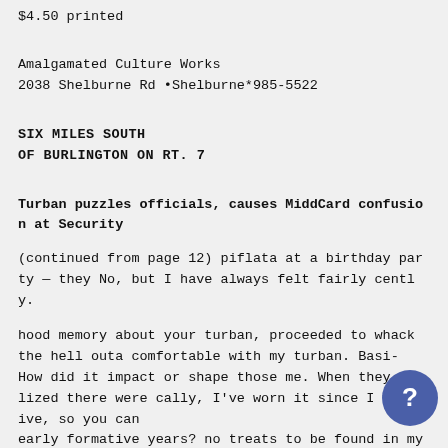$4.50 printed
Amalgamated Culture Works
2038 Shelburne Rd •Shelburne*985-5522
SIX MILES SOUTH
OF BURLINGTON ON RT. 7
Turban puzzles officials, causes MiddCard confusion at Security
(continued from page 12) piflata at a birthday party — they No, but I have always felt fairly cently.
hood memory about your turban, proceeded to whack the hell outa comfortable with my turban. Basi-
How did it impact or shape those me. When they realized there were cally, I've worn it since I was five, so you can
early formative years? no treats to be found in my turban. I'm completely used to it. Oh! I